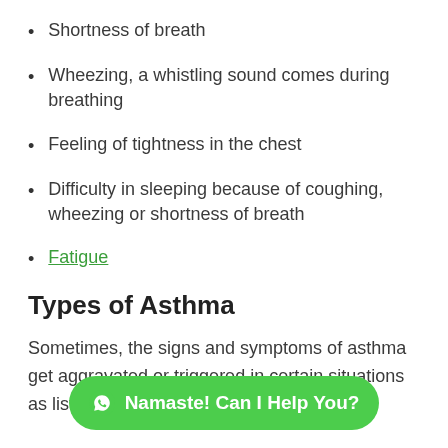Shortness of breath
Wheezing, a whistling sound comes during breathing
Feeling of tightness in the chest
Difficulty in sleeping because of coughing, wheezing or shortness of breath
Fatigue
Types of Asthma
Sometimes, the signs and symptoms of asthma get aggravated or triggered in certain situations as listed below: